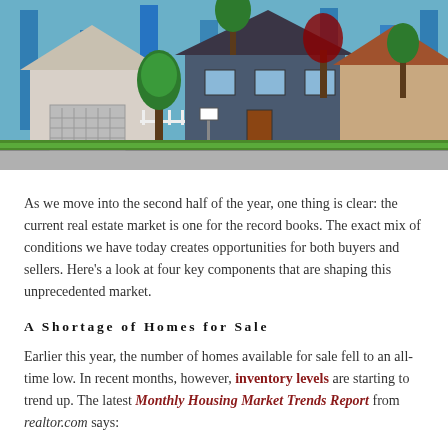[Figure (photo): Photograph of suburban houses with blue-tinted bar chart overlay in background, green landscaping, and a for-sale sign in front yard]
As we move into the second half of the year, one thing is clear: the current real estate market is one for the record books. The exact mix of conditions we have today creates opportunities for both buyers and sellers. Here's a look at four key components that are shaping this unprecedented market.
A Shortage of Homes for Sale
Earlier this year, the number of homes available for sale fell to an all-time low. In recent months, however, inventory levels are starting to trend up. The latest Monthly Housing Market Trends Report from realtor.com says: